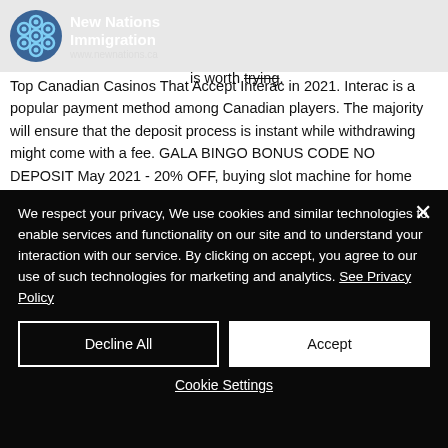New Nations Immigration
slot machine for home use california. By combining all those details, we conclude if the payment service is worth trying. Top Canadian Casinos That Accept Interac in 2021. Interac is a popular payment method among Canadian players. The majority will ensure that the deposit process is instant while withdrawing might come with a fee. GALA BINGO BONUS CODE NO DEPOSIT May 2021 - 20% OFF, buying slot machine for home use california.
We respect your privacy, We use cookies and similar technologies to enable services and functionality on our site and to understand your interaction with our service. By clicking on accept, you agree to our use of such technologies for marketing and analytics. See Privacy Policy
Decline All
Accept
Cookie Settings